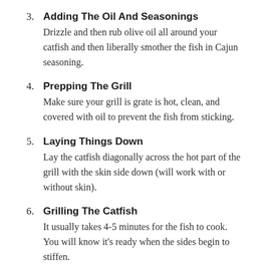3. Adding The Oil And Seasonings
Drizzle and then rub olive oil all around your catfish and then liberally smother the fish in Cajun seasoning.
4. Prepping The Grill
Make sure your grill is grate is hot, clean, and covered with oil to prevent the fish from sticking.
5. Laying Things Down
Lay the catfish diagonally across the hot part of the grill with the skin side down (will work with or without skin).
6. Grilling The Catfish
It usually takes 4-5 minutes for the fish to cook. You will know it's ready when the sides begin to stiffen.